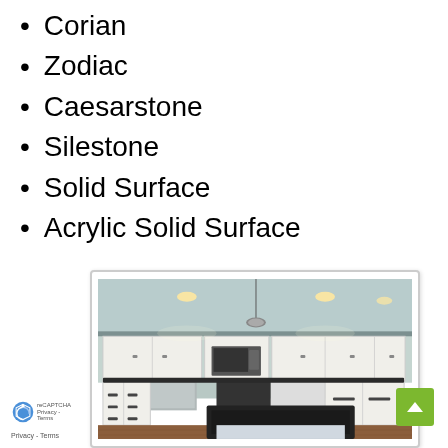Corian
Zodiac
Caesarstone
Silestone
Solid Surface
Acrylic Solid Surface
[Figure (photo): Kitchen interior with white cabinets, dark countertops, stainless steel appliances, pendant lighting, recessed ceiling lights, and hardwood floors. A kitchen island with dark countertop is visible in the foreground.]